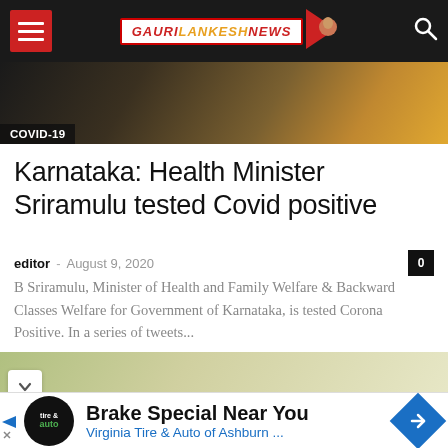GAURI LANKESH NEWS
[Figure (photo): Hero photo of a person, possibly a politician, with orange/saffron flag or background. COVID-19 badge overlay.]
Karnataka: Health Minister Sriramulu tested Covid positive
editor - August 9, 2020
B Sriramulu, Minister of Health and Family Welfare & Backward Classes Welfare for Government of Karnataka, is tested Corona Positive. In a series of tweets...
[Figure (photo): Partial view of a second article preview showing an elderly person's head.]
Brake Special Near You Virginia Tire & Auto of Ashburn ...